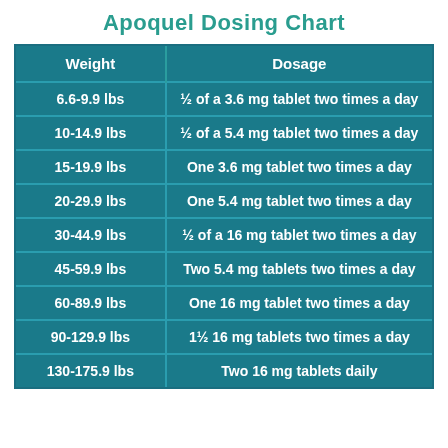Apoquel Dosing Chart
| Weight | Dosage |
| --- | --- |
| 6.6-9.9 lbs | ½ of a 3.6 mg tablet two times a day |
| 10-14.9 lbs | ½ of a 5.4 mg tablet two times a day |
| 15-19.9 lbs | One 3.6 mg tablet two times a day |
| 20-29.9 lbs | One 5.4 mg tablet two times a day |
| 30-44.9 lbs | ½ of a 16 mg tablet two times a day |
| 45-59.9 lbs | Two 5.4 mg tablets two times a day |
| 60-89.9 lbs | One 16 mg tablet two times a day |
| 90-129.9 lbs | 1½ 16 mg tablets two times a day |
| 130-175.9 lbs | Two 16 mg tablets daily |